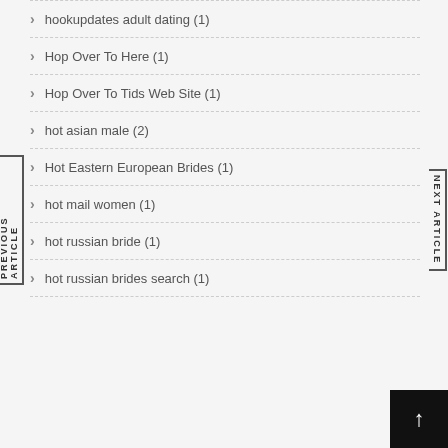hookupdates adult dating (1)
Hop Over To Here (1)
Hop Over To Tids Web Site (1)
hot asian male (2)
Hot Eastern European Brides (1)
hot mail women (1)
hot russian bride (1)
hot russian brides search (1)